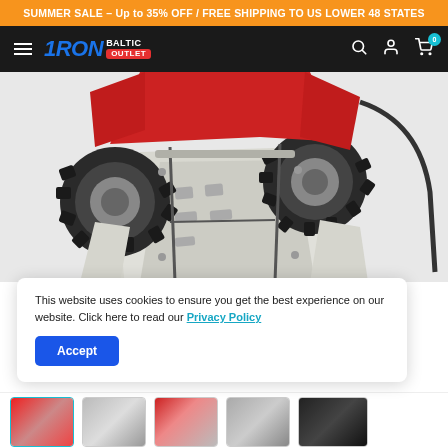SUMMER SALE – Up to 35% OFF / FREE SHIPPING TO US LOWER 48 STATES
[Figure (logo): Iron Baltic Outlet logo with hamburger menu, search, account, and cart icons on dark navigation bar]
[Figure (photo): ATV/quad bike shown from below revealing white skid plate protection and four off-road tires, with red body panels visible]
This website uses cookies to ensure you get the best experience on our website. Click here to read our Privacy Policy
Accept
[Figure (photo): Row of product thumbnail images at bottom of page]